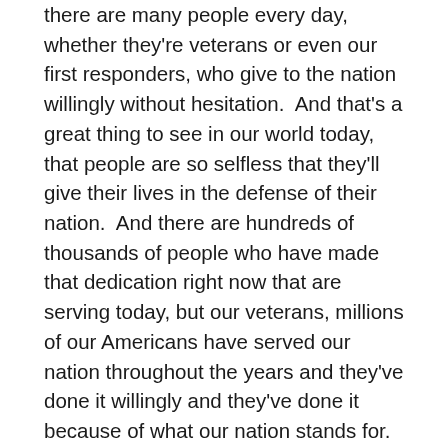there are many people every day, whether they're veterans or even our first responders, who give to the nation willingly without hesitation.  And that's a great thing to see in our world today, that people are so selfless that they'll give their lives in the defense of their nation.  And there are hundreds of thousands of people who have made that dedication right now that are serving today, but our veterans, millions of our Americans have served our nation throughout the years and they've done it willingly and they've done it because of what our nation stands for.  When you see a veteran, when you see our first responders, when you see those people who give back and really, you know, they give back for one reason and then it's patriotism, it's the commitment to our Constitution.  I think we all should thank them, and we should do it not just because it's a cliche of, you know, thanks for your